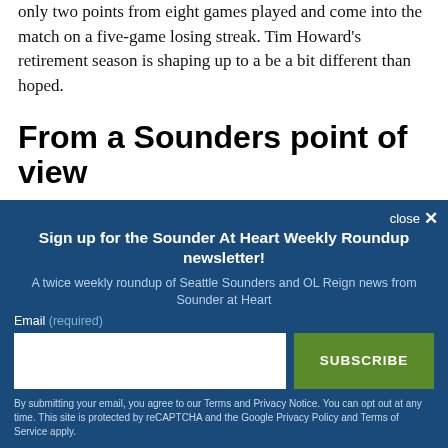only two points from eight games played and come into the match on a five-game losing streak. Tim Howard's retirement season is shaping up to a be a bit different than hoped.
From a Sounders point of view
close ✕
Sign up for the Sounder At Heart Weekly Roundup newsletter!
A twice weekly roundup of Seattle Sounders and OL Reign news from Sounder at Heart
Email (required)
SUBSCRIBE
By submitting your email, you agree to our Terms and Privacy Notice. You can opt out at any time. This site is protected by reCAPTCHA and the Google Privacy Policy and Terms of Service apply.